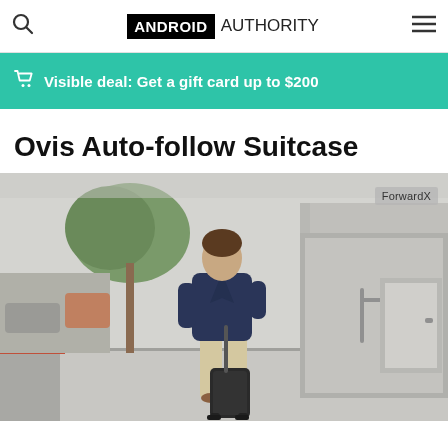Android Authority - Visible deal: Get a gift card up to $200
Ovis Auto-follow Suitcase
[Figure (photo): Man in a navy blazer and khaki pants walking on a city sidewalk, with a black autonomous suitcase (Ovis Auto-follow Suitcase by ForwardX) rolling behind him. Trees, parked cars, and a concrete wall are visible in the background.]